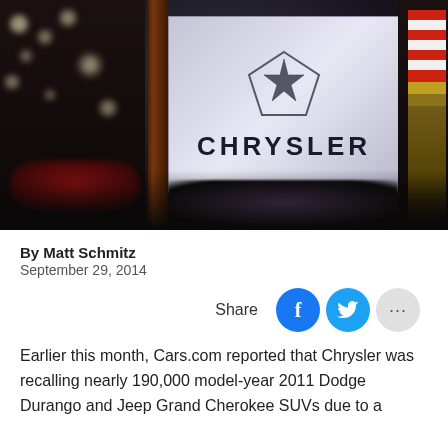[Figure (photo): Chrysler branded sign/display board with the Chrysler star logo and name, photographed in what appears to be a factory or showroom setting with blurred cars and an American flag in the background.]
By Matt Schmitz
September 29, 2014
Earlier this month, Cars.com reported that Chrysler was recalling nearly 190,000 model-year 2011 Dodge Durango and Jeep Grand Cherokee SUVs due to a